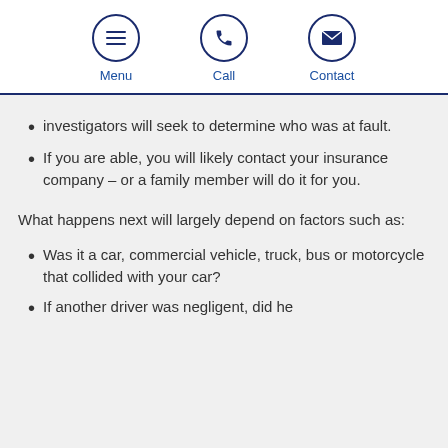Menu  Call  Contact
investigators will seek to determine who was at fault.
If you are able, you will likely contact your insurance company – or a family member will do it for you.
What happens next will largely depend on factors such as:
Was it a car, commercial vehicle, truck, bus or motorcycle that collided with your car?
If another driver was negligent, did he